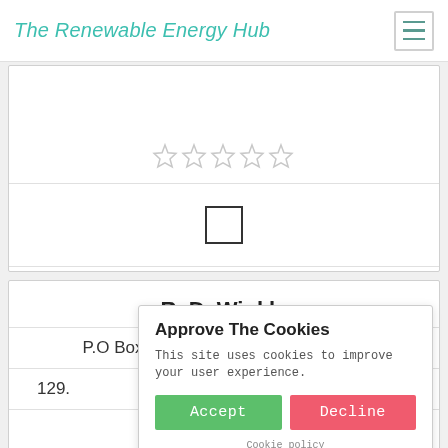The Renewable Energy Hub
[Figure (other): Five star rating icons (empty/outline stars)]
[Figure (other): Checkbox (unchecked square)]
Get a Quote
R. D. Winkle
P.O Box 476,Thousand Palms, 92276
129.
[Figure (other): Five star rating icons (empty/outline stars)]
Approve The Cookies
This site uses cookies to improve your user experience.
Accept  Decline
Cookie policy